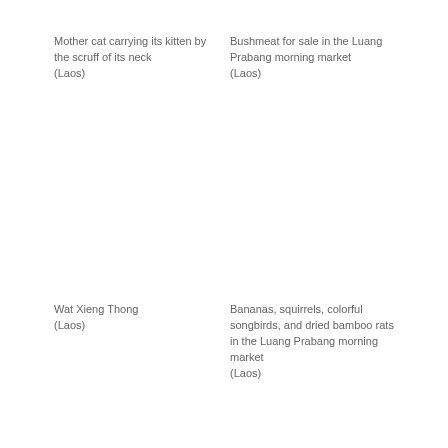Mother cat carrying its kitten by the scruff of its neck
(Laos)
Bushmeat for sale in the Luang Prabang morning market
(Laos)
Wat Xieng Thong
(Laos)
Bananas, squirrels, colorful songbirds, and dried bamboo rats in the Luang Prabang morning market
(Laos)